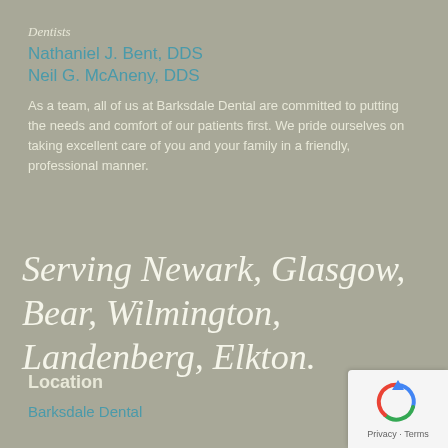Dentists
Nathaniel J. Bent, DDS
Neil G. McAneny, DDS
As a team, all of us at Barksdale Dental are committed to putting the needs and comfort of our patients first. We pride ourselves on taking excellent care of you and your family in a friendly, professional manner.
Serving Newark, Glasgow, Bear, Wilmington, Landenberg, Elkton.
Location
Barksdale Dental